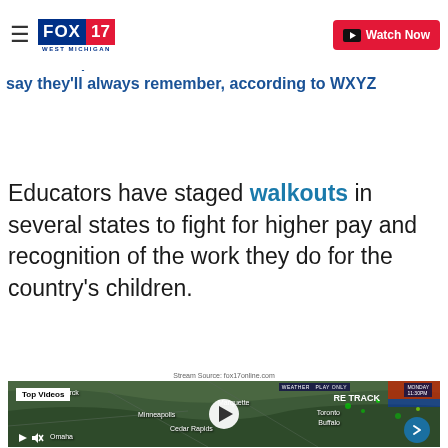FOX 17 WEST MICHIGAN — Watch Now
school superintendent teachers say they'll always remember, according to WXYZ
Educators have staged walkouts in several states to fight for higher pay and recognition of the work they do for the country's children.
Stream Source: fox17online.com
[Figure (screenshot): Video player thumbnail showing a weather map with a meteorologist, Top Videos label, play button, city labels (Bismarck, Marquette, Minneapolis, Cedar Rapids, Omaha, Toronto, Buffalo), weather track overlay, and video controls.]